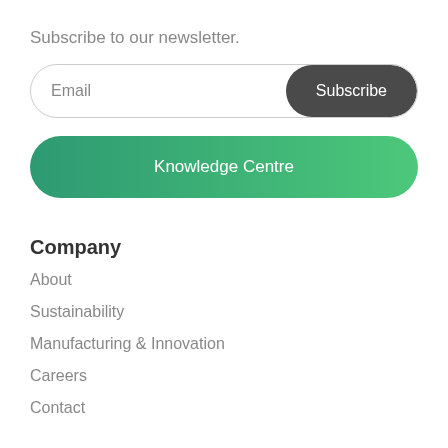Subscribe to our newsletter.
Email
Subscribe
Knowledge Centre
Company
About
Sustainability
Manufacturing & Innovation
Careers
Contact